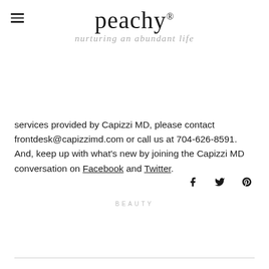[Figure (logo): Peachy logo with tagline 'nurturing an abundant life']
services provided by Capizzi MD, please contact frontdesk@capizzimd.com or call us at 704-626-8591. And, keep up with what's new by joining the Capizzi MD conversation on Facebook and Twitter.
[Figure (other): Social sharing icons: Facebook, Twitter, Pinterest]
BEAUTY